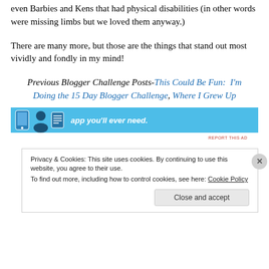even Barbies and Kens that had physical disabilities (in other words were missing limbs but we loved them anyway.)
There are many more, but those are the things that stand out most vividly and fondly in my mind!
Previous Blogger Challenge Posts-This Could Be Fun:  I'm Doing the 15 Day Blogger Challenge, Where I Grew Up
[Figure (screenshot): Advertisement banner with blue background showing app icons and text 'app you'll ever need.' with a REPORT THIS AD label below]
Privacy & Cookies: This site uses cookies. By continuing to use this website, you agree to their use.
To find out more, including how to control cookies, see here: Cookie Policy
Close and accept